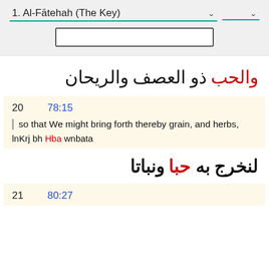1. Al-Fātehah (The Key)
والحب ذو العصف والريحان
20   78:15
so that We might bring forth thereby grain, and herbs,
lnKrj bh Hba wnbata
لنخرج به حبا ونباتا
21   80:27